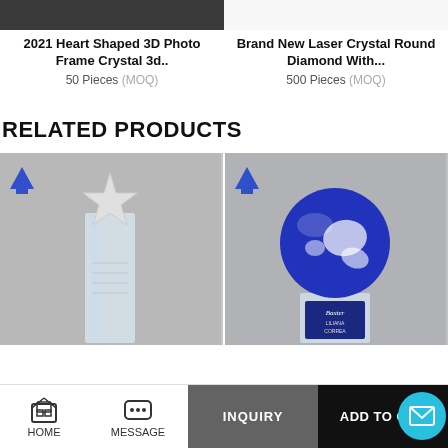[Figure (photo): Cropped top portion of a dark product photo (crystal photo frame) on the left half, white space on the right]
2021 Heart Shaped 3D Photo Frame Crystal 3d..
50 Pieces (MOQ)
Brand New Laser Crystal Round Diamond With...
500 Pieces (MOQ)
RELATED PRODUCTS
[Figure (photo): Crystal award trophy with a star on top, engraved text, on grey background, with blue triangle logo watermark in top-left corner]
[Figure (photo): Blue globe crystal award on a clear crystal base with 'Baxter' and 'Liliana Correa' engraved, on grey background, with blue triangle logo watermark in top-left corner]
HOME  MESSAGE  INQUIRY  ADD TO CART